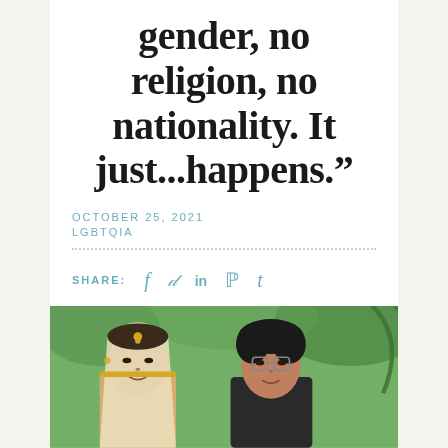gender, no religion, no nationality. It just...happens.”
OCTOBER 25, 2021
LGBTQIA
SHARE: f 𝒗 in ℘ t
[Figure (photo): Two women in South Asian attire smiling together outdoors. One wears a bridal veil with gold jewelry, the other wears glasses and dark clothing.]